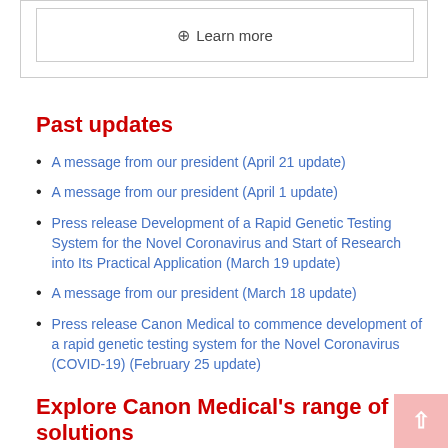⊕ Learn more
Past updates
A message from our president (April 21 update)
A message from our president (April 1 update)
Press release Development of a Rapid Genetic Testing System for the Novel Coronavirus and Start of Research into Its Practical Application (March 19 update)
A message from our president (March 18 update)
Press release Canon Medical to commence development of a rapid genetic testing system for the Novel Coronavirus (COVID-19) (February 25 update)
Explore Canon Medical's range of solutions